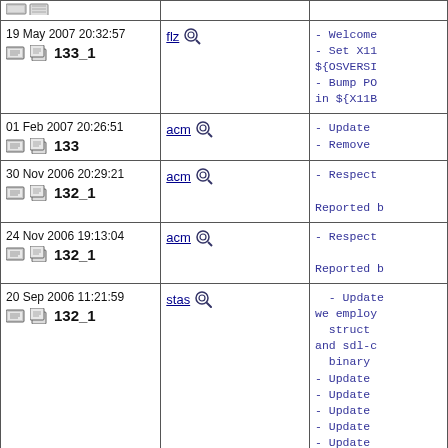| Date/Revision | Committer | Log |
| --- | --- | --- |
| 19 May 2007 20:32:57 | 133_1 | flz | - Welcome
- Set X11...
${OSVERSI...
- Bump PO...
in ${X11B... |
| 01 Feb 2007 20:26:51 | 133 | acm | - Update
- Remove ... |
| 30 Nov 2006 20:29:21 | 132_1 | acm | - Respect...
Reported b... |
| 24 Nov 2006 19:13:04 | 132_1 | acm | - Respect...
Reported b... |
| 20 Sep 2006 11:21:59 | 132_1 | stas | - Update...
we employ...
struct...
and sdl-c...
binary...
- Update
- Update
- Update
- Update
- Update
- Fix de... |